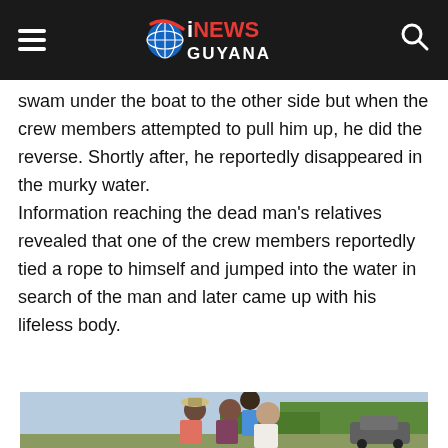iNEWS GUYANA
swam under the boat to the other side but when the crew members attempted to pull him up, he did the reverse. Shortly after, he reportedly disappeared in the murky water.
Information reaching the dead man's relatives revealed that one of the crew members reportedly tied a rope to himself and jumped into the water in search of the man and later came up with his lifeless body.
[Figure (photo): Group of people outdoors near trees and a vehicle; appears to be relatives or community members gathered after an incident.]